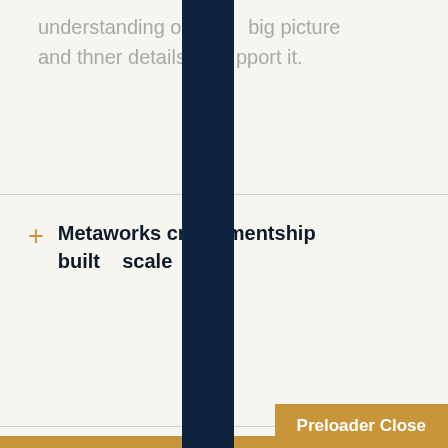understanding of both the big picture and the finer details that support it.
Metalworks crafts mentorship built to scale
STEEL WELDING
METALWORKS
PIPE WELDING
[Figure (other): Circular dashed scroll-up button with upward arrow]
Preloader Close